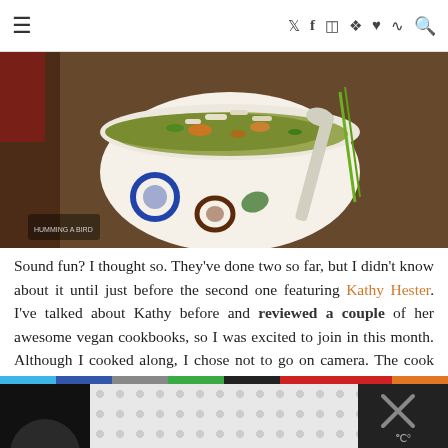≡  ⓨ f ⓘ ⓟ ♥ ⓡ 🔍
[Figure (photo): A bowl of vegetable soup with barley and vegetables, in a decorative white bowl with floral pattern, on a wooden surface with a spoon and green onion.]
Sound fun? I thought so. They've done two so far, but I didn't know about it until just before the second one featuring Kathy Hester. I've talked about Kathy before and reviewed a couple of her awesome vegan cookbooks, so I was excited to join in this month. Although I cooked along, I chose not to go on camera. The cook thing is that you can still interact in real-time by chatting with everybody else watching and asking questions that our hosts will answer.
[Figure (photo): Bottom strip: dark left section with partial face, center section with grey polka dot pattern, right dark section with X icon and degree/thermometer symbol.]